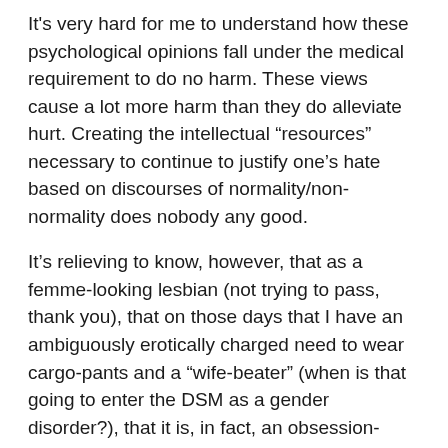It's very hard for me to understand how these psychological opinions fall under the medical requirement to do no harm. These views cause a lot more harm than they do alleviate hurt. Creating the intellectual “resources” necessary to continue to justify one’s hate based on discourses of normality/non-normality does nobody any good.
It’s relieving to know, however, that as a femme-looking lesbian (not trying to pass, thank you), that on those days that I have an ambiguously erotically charged need to wear cargo-pants and a “wife-beater” (when is that going to enter the DSM as a gender disorder?), that it is, in fact, an obsession-based, narcissistic, sexual disorder that I am signifying. If I had known that sooner, I